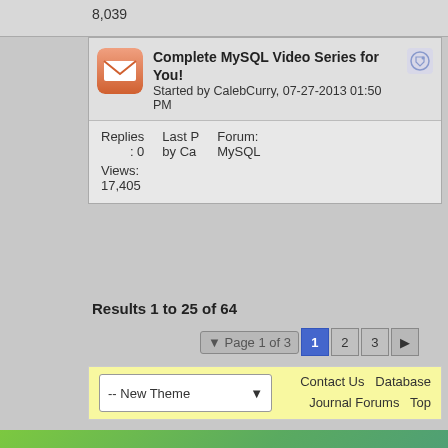8,039
| Complete MySQL Video Series for You! | Started by CalebCurry, 07-27-2013 01:50 PM |
| Replies: 0 | Last P by Ca | Forum: MySQL |
| Views: 17,405 |  |  |
Results 1 to 25 of 64
Page 1 of 3  1  2  3  ▶
-- New Theme  |  Contact Us  Database Journal Forums  Top
[Figure (screenshot): TechnologyAdvice ad banner: Quiet, Please. Tech Buyers Doing R... Want to connect them with your brand?]
[Figure (logo): DATABASE JOURNAL logo with green dots]
Terms of Service | About Us | Privacy Notice | Contact Us | Adverti...